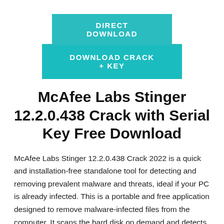[Figure (other): Two teal/cyan download buttons stacked: 'DIRECT DOWNLOAD' on top (narrower), 'DOWNLOAD CRACK + KEY' below (wider)]
McAfee Labs Stinger 12.2.0.438 Crack with Serial Key Free Download
McAfee Labs Stinger 12.2.0.438 Crack 2022 is a quick and installation-free standalone tool for detecting and removing prevalent malware and threats, ideal if your PC is already infected. This is a portable and free application designed to remove malware-infected files from the computer. It scans the hard disk on demand and detects viruses, rootkits, Trojans, worms, and other threats